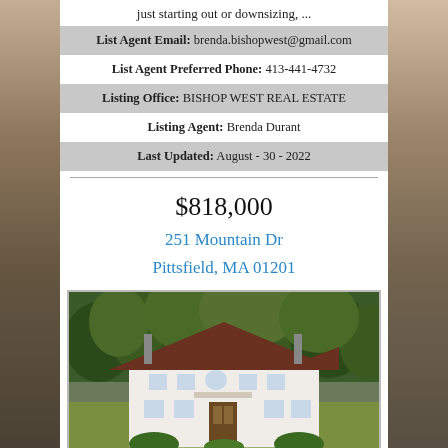just starting out or downsizing, ...
List Agent Email: brenda.bishopwest@gmail.com
List Agent Preferred Phone: 413-441-4732
Listing Office: BISHOP WEST REAL ESTATE
Listing Agent: Brenda Durant
Last Updated: August - 30 - 2022
$818,000
251 Mountain Dr
Pittsfield, MA 01201
[Figure (photo): Aerial view of a large white two-story house with dark brown roof, surrounded by dense green trees]